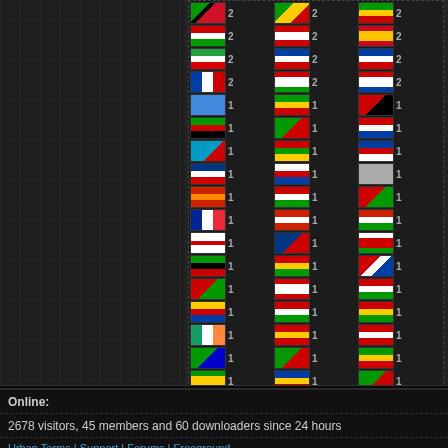[Figure (other): Grid of country flags with visitor counts of 1 or 2, arranged in three columns, showing many different national flags]
Advertisement
Online:
2678 visitors, 45 members and 60 downloaders since 24 hours
Urban Terms | Support | Forums | Freeground